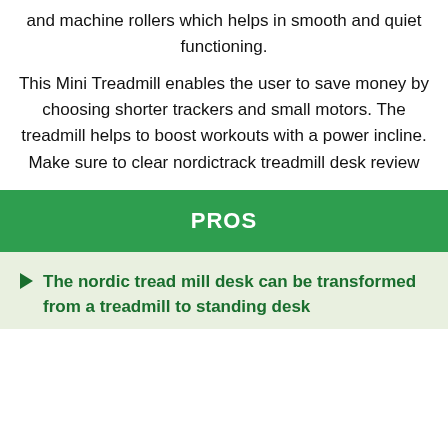and machine rollers which helps in smooth and quiet functioning.
This Mini Treadmill enables the user to save money by choosing shorter trackers and small motors. The treadmill helps to boost workouts with a power incline. Make sure to clear nordictrack treadmill desk review
PROS
The nordic tread mill desk can be transformed from a treadmill to standing desk